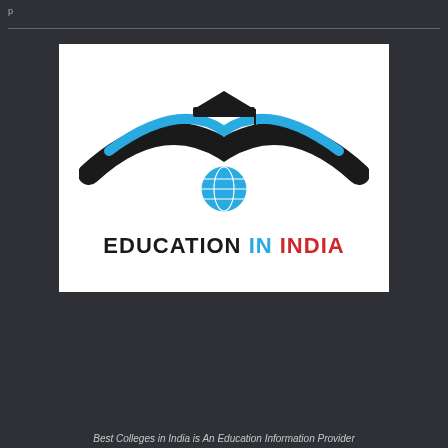p
[Figure (logo): Education in India logo: graduation cap above open book wings with a globe, text reads EDUCATION IN INDIA]
Best Colleges in India is An Education Information Provider